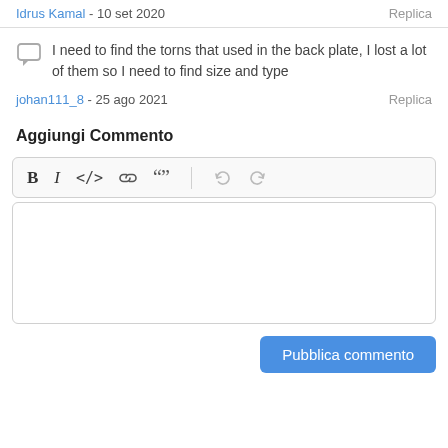Idrus Kamal - 10 set 2020   Replica
I need to find the torns that used in the back plate, I lost a lot of them so I need to find size and type
johan111_8 - 25 ago 2021   Replica
Aggiungi Commento
[Figure (screenshot): Text editor toolbar with bold, italic, code, link, blockquote, undo, redo buttons]
[Figure (screenshot): Empty text area for comment input]
Pubblica commento